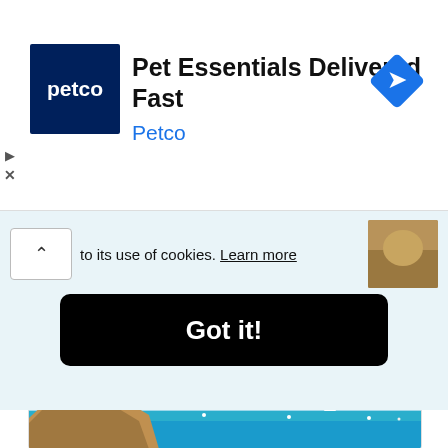[Figure (screenshot): Petco advertisement banner with Petco logo (blue square with 'petco' text), headline 'Pet Essentials Delivered Fast', brand name 'Petco' in blue, and a blue navigation diamond icon on the right]
to its use of cookies. Learn more
Got it!
Families, Swimming, Water Sports
CLICK HERE
[Figure (photo): Coastal beach scene with rocky cliffs on the left, blue sea water with boats, and clear blue sky]